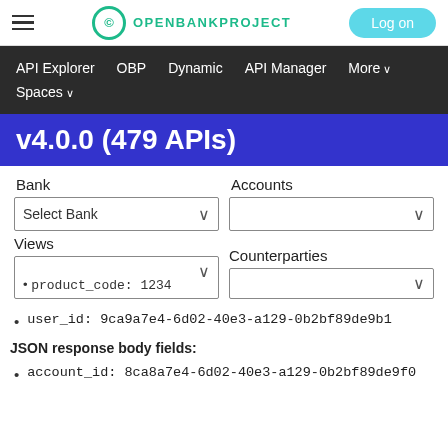OPENBANKPROJECT | Log on
API Explorer   OBP   Dynamic   API Manager   More ∨   Spaces ∨
v4.0.0 (479 APIs)
Bank   Accounts
Select Bank (dropdown)   (accounts dropdown)
Views   Counterparties
product_code: 1234
user_id: 9ca9a7e4-6d02-40e3-a129-0b2bf89de9b1
JSON response body fields:
account_id: 8ca8a7e4-6d02-40e3-a129-0b2bf89de9f0